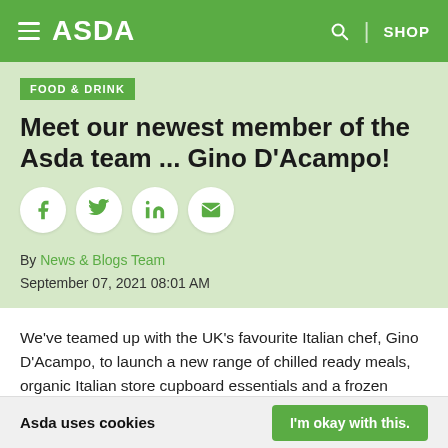ASDA — SHOP
FOOD & DRINK
Meet our newest member of the Asda team ... Gino D'Acampo!
[Figure (infographic): Social sharing buttons: Facebook, Twitter, LinkedIn, Email]
By News & Blogs Team
September 07, 2021 08:01 AM
We've teamed up with the UK's favourite Italian chef, Gino D'Acampo, to launch a new range of chilled ready meals, organic Italian store cupboard essentials and a frozen offering
Asda uses cookies    I'm okay with this.